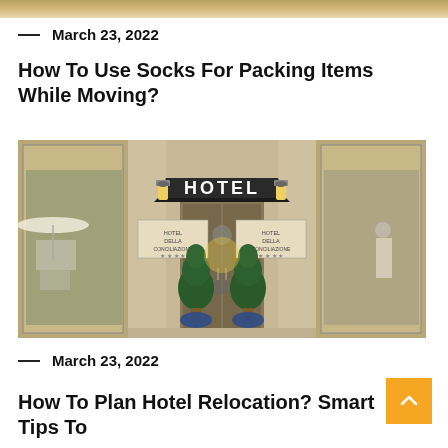[Figure (photo): Top cropped strip of an image (brown/tan tones), partial view at top of page]
— March 23, 2022
How To Use Socks For Packing Items While Moving?
[Figure (photo): Exterior facade of a hotel called Hotel Della Conciliazione with a dark awning reading HOTEL, two ornate wall lanterns, two topiary trees in blue pots, and large glass windows reflecting the street.]
— March 23, 2022
How To Plan Hotel Relocation? Smart Tips To